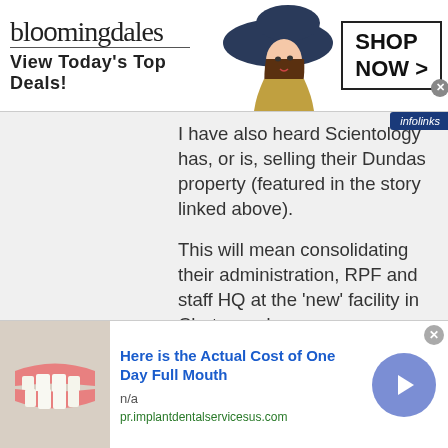[Figure (screenshot): Bloomingdale's advertisement banner: logo text 'bloomingdales', tagline 'View Today's Top Deals!', photo of woman in hat, 'SHOP NOW >' button box]
I have also heard Scientology has, or is, selling their Dundas property (featured in the story linked above).

This will mean consolidating their administration, RPF and staff HQ at the 'new' facility in Chatswood.

The Chatswood property is well off the beaten path with no foot
[Figure (screenshot): Bottom advertisement: image of teeth/dental, headline 'Here is the Actual Cost of One Day Full Mouth', 'n/a', URL 'pr.implantdentalservicesus.com', blue circular arrow button]